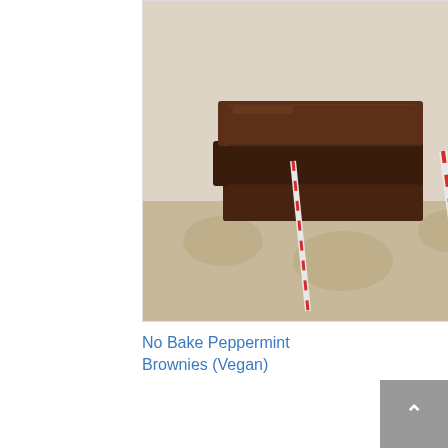Brownies
[Figure (photo): Stack of chocolate peppermint brownies on a decorative cloth with candy canes]
No Bake Peppermint Brownies (Vegan)
banana
desserts
fudge
gluten free
grain free
paleo
sweets
walnuts
39 thoughts to “Banana Walnut Freezer Fudge”